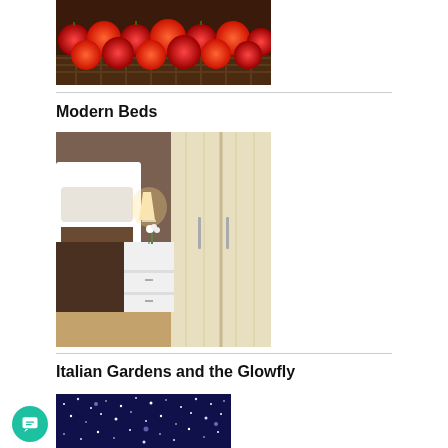[Figure (photo): Photo of red tomatoes in a basket]
Modern Beds
[Figure (photo): Photo of a modern bedroom with white bed, nightstand with lamp and flowers, and light-colored wardrobe]
Italian Gardens and the Glowfly
[Figure (photo): Photo of a dark blue night sky with stars]